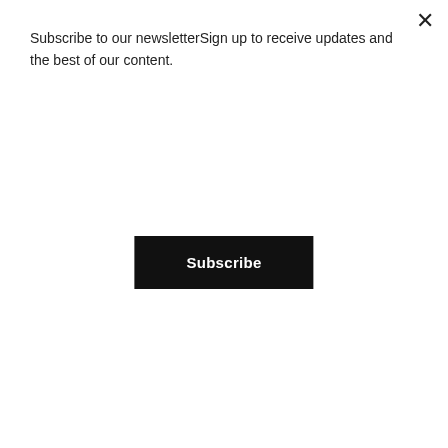Subscribe to our newsletterSign up to receive updates and the best of our content.
[Figure (other): Black Subscribe button]
[Figure (photo): Person in red jacket running with white earphones, cropped to show torso and arms]
Another great benefit to this way of working out is it can be applied to your favorite workout. If you like to run, sprint for 1 minute and walk for 30 seconds. If you like to use the stationary bike, pedal with all your might for 1 minute and pedal slowly for 30 seconds. Doing this increases your heart rate for a much greater benefit than the same amount of time spent jogging or moderately pedaling. My favorite method of doing this involves a full-body approach.
I have had my own struggles with stress and weight